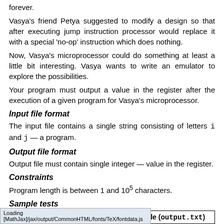forever.
Vasya's friend Petya suggested to modify a design so that after executing jump instruction processor would replace it with a special 'no-op' instruction which does nothing.
Now, Vasya's microprocessor could do something at least a little bit interesting. Vasya wants to write an emulator to explore the possibilities.
Your program must output a value in the register after the execution of a given program for Vasya's microprocessor.
Input file format
The input file contains a single string consisting of letters i and j — a program.
Output file format
Output file must contain single integer — value in the register.
Constraints
Program length is between 1 and 10^5 characters.
Sample tests
| No. | Input file (input.txt) | Output file (output.txt) |
| --- | --- | --- |
| 1 | i | 1 |
|  |  |  |
Loading [MathJax]/jax/output/CommonHTML/fonts/TeX/fontdata.js